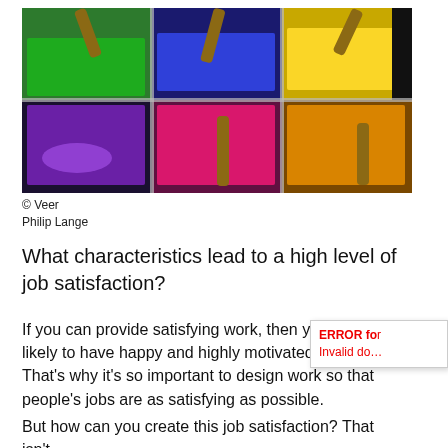[Figure (photo): Photograph of colorful paint trays (green, blue, red, purple, pink, yellow/orange) with wooden stir sticks, viewed from above, arranged in a grid pattern.]
© Veer
Philip Lange
What characteristics lead to a high level of job satisfaction?
If you can provide satisfying work, then you're more likely to have happy and highly motivated workers. That's why it's so important to design work so that people's jobs are as satisfying as possible.
But how can you create this job satisfaction? That isn't always easy, but there are principles and techniques that can help.